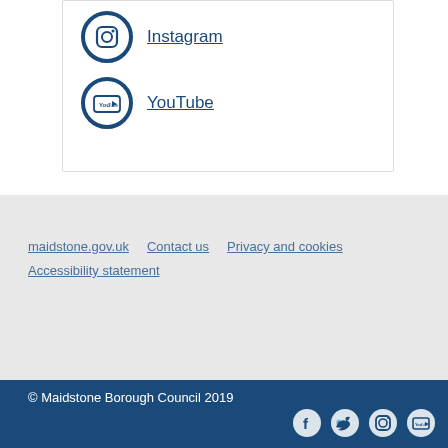Instagram
YouTube
maidstone.gov.uk   Contact us   Privacy and cookies   Accessibility statement
© Maidstone Borough Council 2019